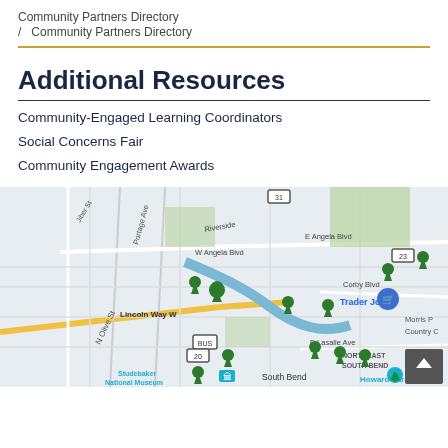Community Partners Directory / Community Partners Directory
Additional Resources
Community-Engaged Learning Coordinators
Social Concerns Fair
Community Engagement Awards
[Figure (map): Google Maps view of South Bend, Indiana area showing green map pins for community partner locations near Notre Dame. Visible landmarks include Trader Joe's, Studebaker National Museum, Howard Park, Northeast South Bend. Streets include Lincoln Way W, E Angela Blvd, W Angela Blvd, E Lasalle Ave, N Olive St, Portage Ave, Corby Blvd.]